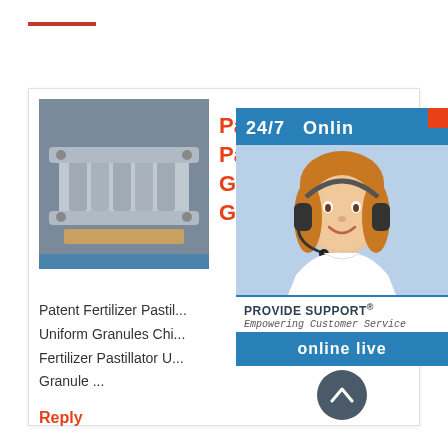[Figure (other): Red horizontal line / brand accent bar]
[Figure (photo): Industrial metal fertilizer pastillator granulator component, heavy steel part with threaded/ridged sections]
Patent Fertilizer Pastillator Uniform Granules China Granulator
Patent Fertilizer Pastillator Uniform Granules China Fertilizer Pastillator Uniform Granule ...
Reply
[Figure (infographic): 24/7 Online customer support widget with woman wearing headset, PROVIDE SUPPORT® Empowering Customer Service, online live button]
在线咨询